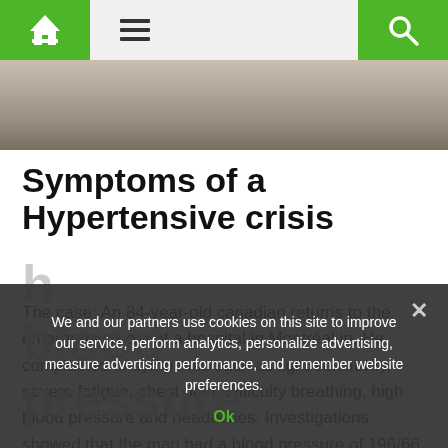Navigation bar with home, menu, and search icons
[Figure (photo): Hero image showing a natural/outdoor background, muted brown and grey tones]
Symptoms of a Hypertensive crisis
The case: An 84-year-old canadian returns to the emergency room of a hospital in Montréal in. He complained of symptoms such as light sensitivity, severe fatigue, chest pain, difficulty breathing, high blood pressure and headaches. Investigations showed that the man had a blood pressure of 196/66 mm Hg. Its potassium content in the blood was reduced and its blood pH is abnormally high (metabolic alkalosis).
We and our partners use cookies on this site to improve our service, perform analytics, personalize advertising, measure advertising performance, and remember website preferences.
Ok